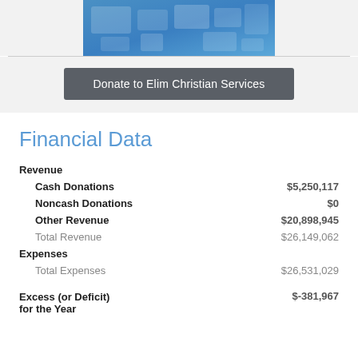[Figure (illustration): Blue mosaic/tile pattern banner image for Elim Christian Services]
Donate to Elim Christian Services
Financial Data
| Category | Amount |
| --- | --- |
| Revenue |  |
| Cash Donations | $5,250,117 |
| Noncash Donations | $0 |
| Other Revenue | $20,898,945 |
| Total Revenue | $26,149,062 |
| Expenses |  |
| Total Expenses | $26,531,029 |
| Excess (or Deficit) for the Year | $-381,967 |